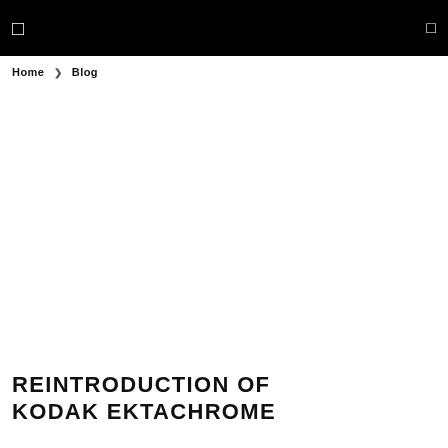☰  🔍
Home  ❯  Blog
[Figure (photo): Large hero image area, appears white/blank in this crop]
REINTRODUCTION OF KODAK EKTACHROME